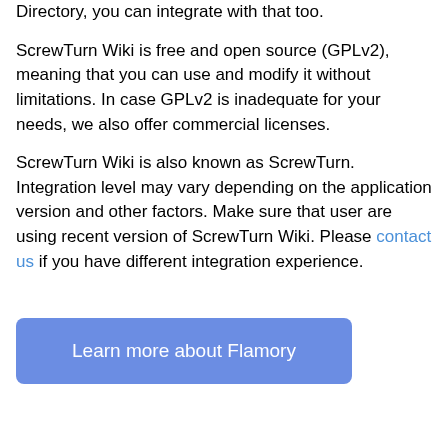Directory, you can integrate with that too.
ScrewTurn Wiki is free and open source (GPLv2), meaning that you can use and modify it without limitations. In case GPLv2 is inadequate for your needs, we also offer commercial licenses.
ScrewTurn Wiki is also known as ScrewTurn. Integration level may vary depending on the application version and other factors. Make sure that user are using recent version of ScrewTurn Wiki. Please contact us if you have different integration experience.
Learn more about Flamory